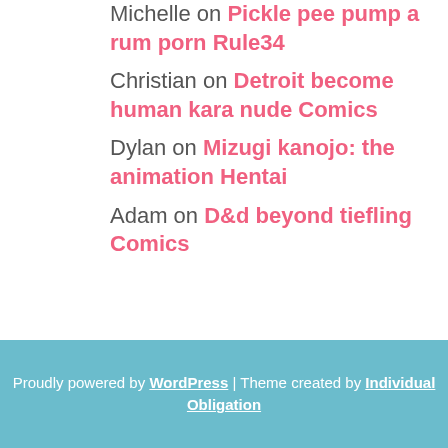Michelle on Pickle pee pump a rum porn Rule34
Christian on Detroit become human kara nude Comics
Dylan on Mizugi kanojo: the animation Hentai
Adam on D&d beyond tiefling Comics
Proudly powered by WordPress | Theme created by Individual Obligation